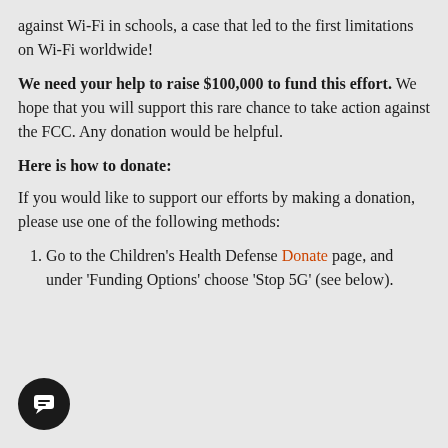against Wi-Fi in schools, a case that led to the first limitations on Wi-Fi worldwide!
We need your help to raise $100,000 to fund this effort. We hope that you will support this rare chance to take action against the FCC. Any donation would be helpful.
Here is how to donate:
If you would like to support our efforts by making a donation, please use one of the following methods:
Go to the Children's Health Defense Donate page, and under 'Funding Options' choose 'Stop 5G' (see below).